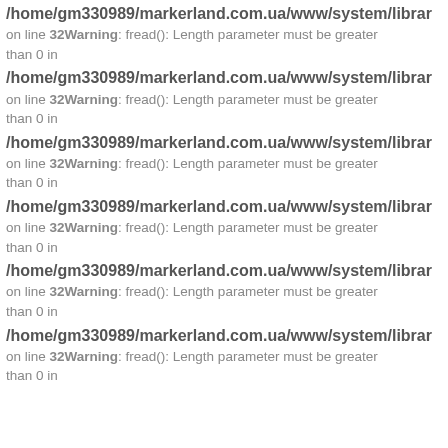/home/gm330989/markerland.com.ua/www/system/librar on line 32Warning: fread(): Length parameter must be greater than 0 in
/home/gm330989/markerland.com.ua/www/system/librar on line 32Warning: fread(): Length parameter must be greater than 0 in
/home/gm330989/markerland.com.ua/www/system/librar on line 32Warning: fread(): Length parameter must be greater than 0 in
/home/gm330989/markerland.com.ua/www/system/librar on line 32Warning: fread(): Length parameter must be greater than 0 in
/home/gm330989/markerland.com.ua/www/system/librar on line 32Warning: fread(): Length parameter must be greater than 0 in
/home/gm330989/markerland.com.ua/www/system/librar on line 32Warning: fread(): Length parameter must be greater than 0 in than 0 in